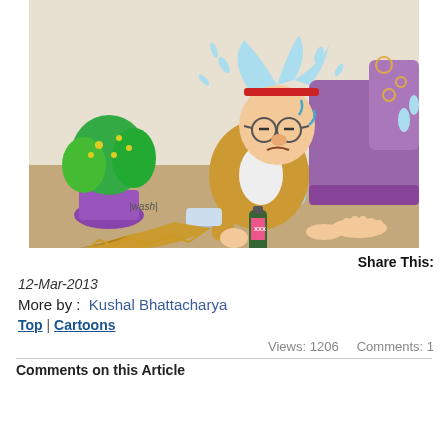[Figure (illustration): Cartoon illustration by Kushal Bhattacharya showing a disheveled drunk man sitting on the floor leaning against a purple sofa, holding a bottle labeled XXX, with a spilled can of liquid on the floor, a green potted plant in the background, and sweat/water drops flying from his head. Artist signature 'Kush' visible.]
Share This:
12-Mar-2013
More by :  Kushal Bhattacharya
Top | Cartoons
Views: 1206    Comments: 1
Comments on this Article